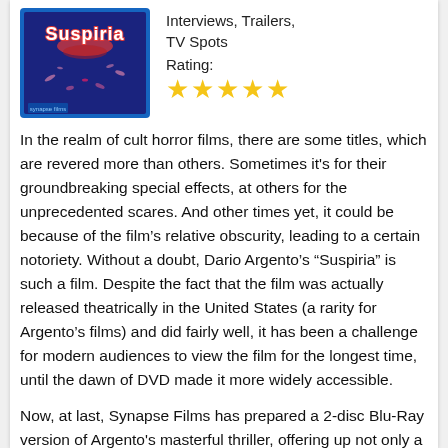[Figure (photo): Blu-ray cover of Suspiria with red and blue design and white text]
Interviews, Trailers, TV Spots
Rating:
[Figure (other): 4 full gold stars and 1 half star rating]
In the realm of cult horror films, there are some titles, which are revered more than others. Sometimes it's for their groundbreaking special effects, at others for the unprecedented scares. And other times yet, it could be because of the film’s relative obscurity, leading to a certain notoriety. Without a doubt, Dario Argento’s “Suspiria” is such a film. Despite the fact that the film was actually released theatrically in the United States (a rarity for Argento’s films) and did fairly well, it has been a challenge for modern audiences to view the film for the longest time, until the dawn of DVD made it more widely accessible.
Now, at last, Synapse Films has prepared a 2-disc Blu-Ray version of Argento’s masterful thriller, offering up not only a brand new transfer from a 4K restoration but also a package that is brimming with bonus materials.